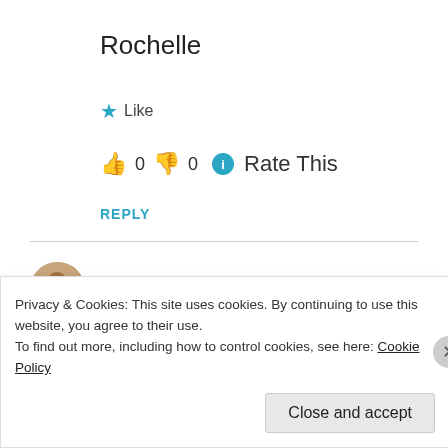Rochelle
★ Like
👍 0 👎 0 ℹ Rate This
REPLY
Privacy & Cookies: This site uses cookies. By continuing to use this website, you agree to their use.
To find out more, including how to control cookies, see here: Cookie Policy
Close and accept